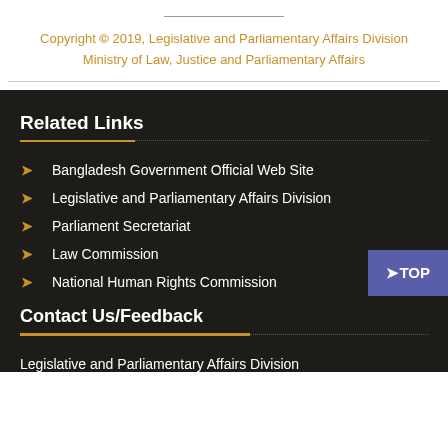Copyright © 2019, Legislative and Parliamentary Affairs Division Ministry of Law, Justice and Parliamentary Affairs
Related Links
Bangladesh Government Official Web Site
Legislative and Parliamentary Affairs Division
Parliament Secretariat
Law Commission
National Human Rights Commission
Contact Us/Feedback
Legislative and Parliamentary Affairs Division